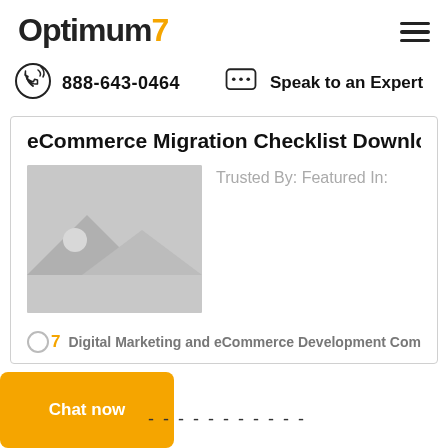Optimum7
888-643-0464
Speak to an Expert
eCommerce Migration Checklist Download
Trusted By: Featured In:
[Figure (photo): Placeholder image thumbnail]
Digital Marketing and eCommerce Development Company
Chat now